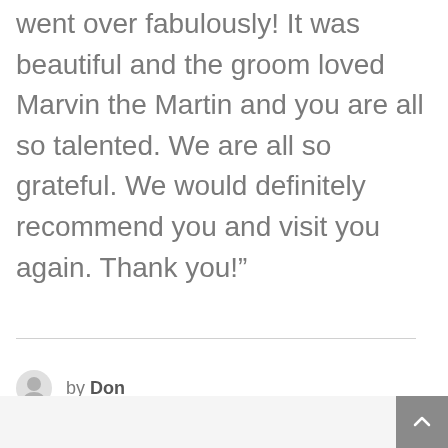went over fabulously! It was beautiful and the groom loved Marvin the Martin and you are all so talented. We are all so grateful. We would definitely recommend you and visit you again. Thank you!"
by Don